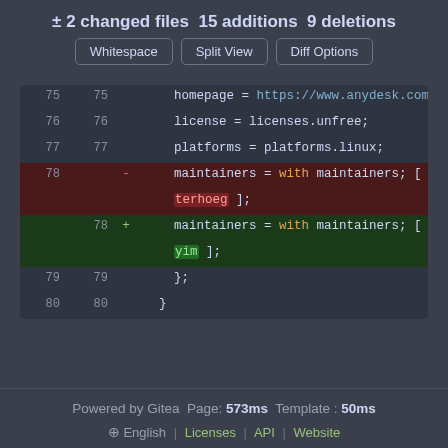± 2 changed files 15 additions 9 deletions
[Figure (screenshot): Three buttons: Whitespace, Split View, Diff Options]
[Figure (screenshot): Git diff showing lines 75-80 with deletion of 'with maintainers; [ pe terhoeg ];' and addition of 'with maintainers; [ sh yim ];']
Powered by Gitea Page: 573ms Template : 50ms
⊕ English | Licenses | API | Website